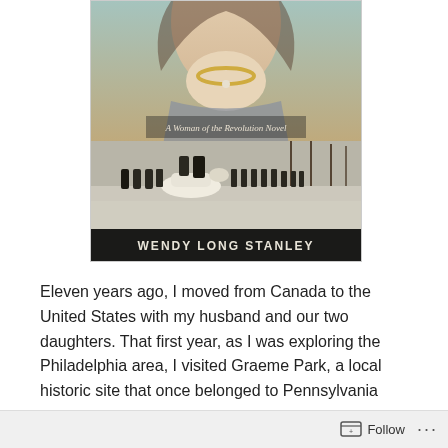[Figure (illustration): Book cover showing a woman's portrait at top (partial, showing neck and lower face with gold necklace), text 'A Woman of the Revolution Novel' in the middle, a winter Revolutionary War scene with soldiers on horseback at bottom, and author name 'WENDY LONG STANLEY' at the bottom.]
Eleven years ago, I moved from Canada to the United States with my husband and our two daughters. That first year, as I was exploring the Philadelphia area, I visited Graeme Park, a local historic site that once belonged to Pennsylvania
Follow ...